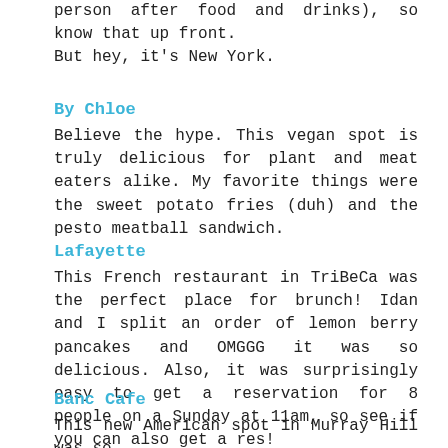person after food and drinks), so know that up front. But hey, it's New York.
By Chloe
Believe the hype. This vegan spot is truly delicious for plant and meat eaters alike. My favorite things were the sweet potato fries (duh) and the pesto meatball sandwich.
Lafayette
This French restaurant in TriBeCa was the perfect place for brunch! Idan and I split an order of lemon berry pancakes and OMGGG it was so delicious. Also, it was surprisingly easy to get a reservation for 8 people on a Sunday at 11am, so see if you can also get a res!
Banc Cafe
This new American spot in Murray Hill was so